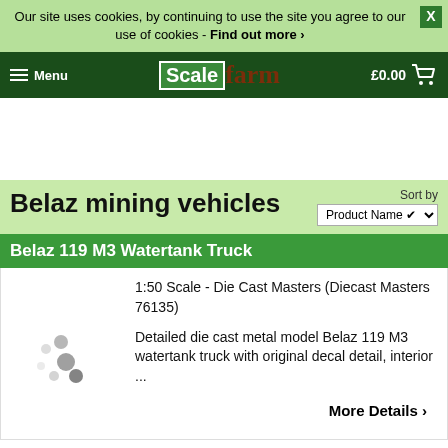Our site uses cookies, by continuing to use the site you agree to our use of cookies - Find out more ›
[Figure (logo): Scale Farm logo with hamburger menu, Menu text, and cart with £0.00]
Belaz mining vehicles
Belaz 119 M3 Watertank Truck
1:50 Scale - Die Cast Masters (Diecast Masters 76135)
Detailed die cast metal model Belaz 119 M3 watertank truck with original decal detail, interior ...
More Details ›